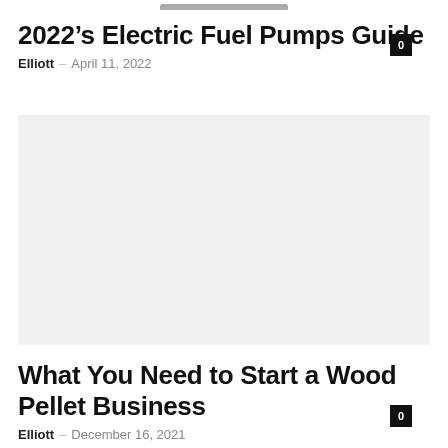2022’s Electric Fuel Pumps Guide
Elliott – April 11, 2022
[Figure (photo): Partial image of an electric fuel pump at top of page]
What You Need to Start a Wood Pellet Business
Elliott – December 16, 2021